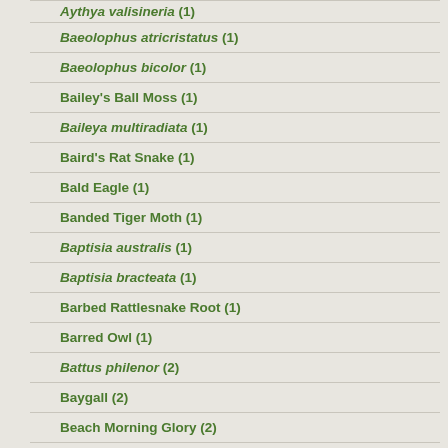Aythya valisineria (1)
Baeolophus atricristatus (1)
Baeolophus bicolor (1)
Bailey's Ball Moss (1)
Baileya multiradiata (1)
Baird's Rat Snake (1)
Bald Eagle (1)
Banded Tiger Moth (1)
Baptisia australis (1)
Baptisia bracteata (1)
Barbed Rattlesnake Root (1)
Barred Owl (1)
Battus philenor (2)
Baygall (2)
Beach Morning Glory (2)